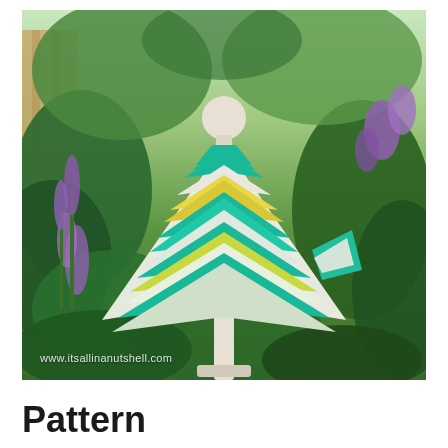[Figure (photo): A colorful crocheted poncho/shawl displayed on a dress form mannequin, outdoors in a garden setting with green foliage and purple flowers in the background. The poncho has a chevron/zigzag pattern with stripes of teal/turquoise, yellow, cream/white, and light green colors. A watermark reads www.itsallinanutshell.com at the bottom left of the photo.]
Pattern